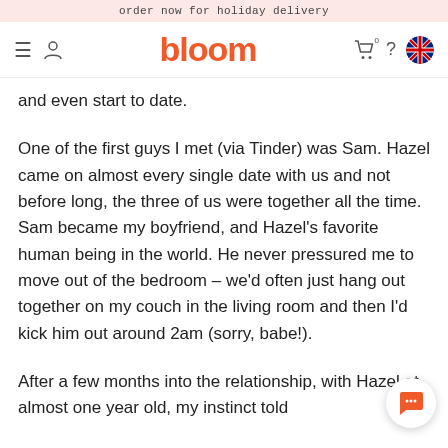order now for holiday delivery
[Figure (logo): Bloom website navigation bar with hamburger menu, user icon, bloom logo in orange, cart icon, question mark, and Australian flag]
and even start to date.
One of the first guys I met (via Tinder) was Sam. Hazel came on almost every single date with us and not before long, the three of us were together all the time. Sam became my boyfriend, and Hazel’s favorite human being in the world. He never pressured me to move out of the bedroom – we’d often just hang out together on my couch in the living room and then I’d kick him out around 2am (sorry, babe!).
After a few months into the relationship, with Hazel at almost one year old, my instinct told